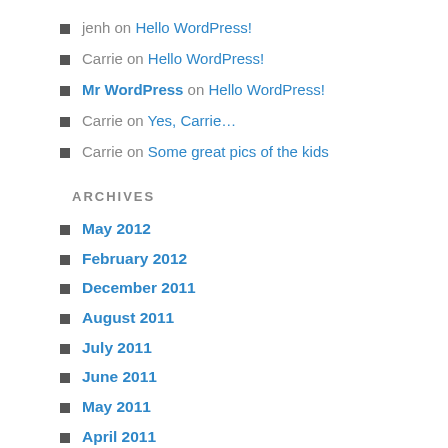jenh on Hello WordPress!
Carrie on Hello WordPress!
Mr WordPress on Hello WordPress!
Carrie on Yes, Carrie…
Carrie on Some great pics of the kids
ARCHIVES
May 2012
February 2012
December 2011
August 2011
July 2011
June 2011
May 2011
April 2011
March 2011
February 2011
January 2011
December 2010
November 2010